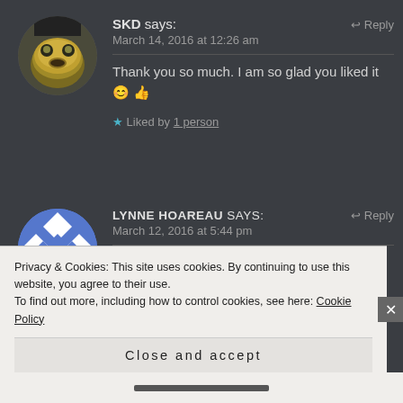[Figure (photo): Avatar of user SKD — circular profile picture showing a face with a yellow/green tint]
SKD says:
March 14, 2016 at 12:26 am
Thank you so much. I am so glad you liked it 😊 👍
★ Liked by 1 person
[Figure (photo): Avatar of user LYNNE HOAREAU — circular profile picture with blue and white diamond pattern]
LYNNE HOAREAU says:
March 12, 2016 at 5:44 pm
Privacy & Cookies: This site uses cookies. By continuing to use this website, you agree to their use.
To find out more, including how to control cookies, see here: Cookie Policy
Close and accept